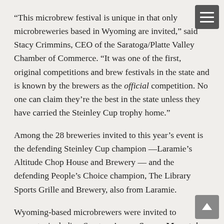“This microbrew festival is unique in that only microbreweries based in Wyoming are invited,” said Stacy Crimmins, CEO of the Saratoga/Platte Valley Chamber of Commerce. “It was one of the first, original competitions and brew festivals in the state and is known by the brewers as the official competition. No one can claim they’re the best in the state unless they have carried the Steinley Cup trophy home.”
Among the 28 breweries invited to this year’s event is the defending Steinley Cup champion —Laramie’s Altitude Chop House and Brewery — and the defending People’s Choice champion, The Library Sports Grille and Brewery, also from Laramie.
Wyoming-based microbrewers were invited to compete, including Saratoga’s own Snowy Mountain Brewery, Wyoming State Brewing Company (Casper), Snake River Brewing Company (Jackson), Lander Brewing Company, Coal Creek TAP (Laramie), Black Tooth Brewing (Sheridan), Cheyenne Brewing Company, Pat O’Hara Brewing Company